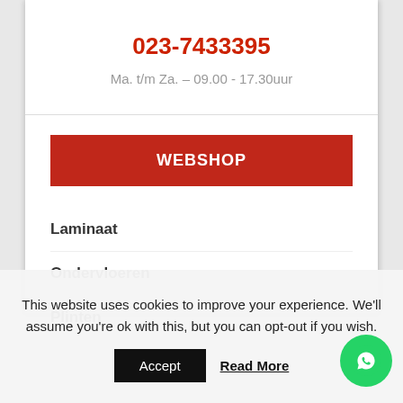023-7433395
Ma. t/m Za. – 09.00 - 17.30uur
WEBSHOP
Laminaat
Ondervloeren
Plinten
This website uses cookies to improve your experience. We'll assume you're ok with this, but you can opt-out if you wish.
Accept
Read More